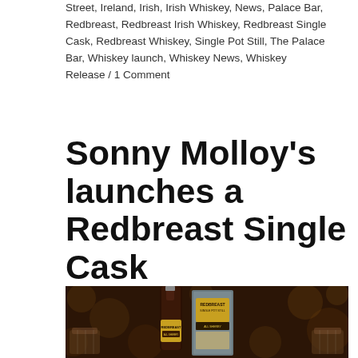Street, Ireland, Irish, Irish Whiskey, News, Palace Bar, Redbreast, Redbreast Irish Whiskey, Redbreast Single Cask, Redbreast Whiskey, Single Pot Still, The Palace Bar, Whiskey launch, Whiskey News, Whiskey Release / 1 Comment
Sonny Molloy's launches a Redbreast Single Cask
[Figure (photo): Photo of a Redbreast Single Pot Still All Sherry whiskey bottle with its box packaging, flanked by two crystal whiskey glasses, against a warm bokeh background]